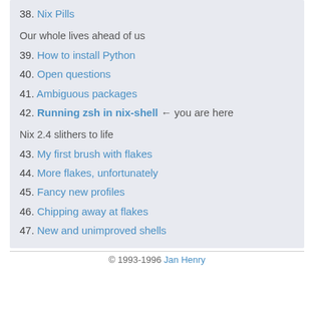38. Nix Pills
Our whole lives ahead of us
39. How to install Python
40. Open questions
41. Ambiguous packages
42. Running zsh in nix-shell ← you are here
Nix 2.4 slithers to life
43. My first brush with flakes
44. More flakes, unfortunately
45. Fancy new profiles
46. Chipping away at flakes
47. New and unimproved shells
© 1993-1996 Jan Henry